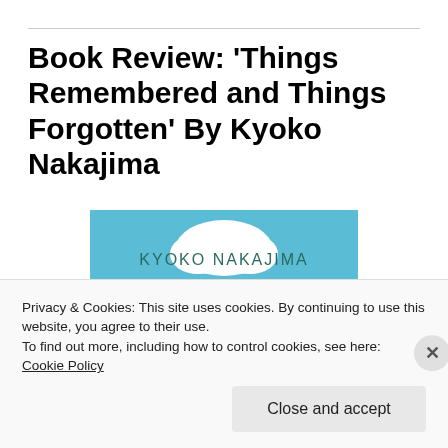Book Review: ‘Things Remembered and Things Forgotten’ By Kyoko Nakajima
[Figure (illustration): Book cover illustration showing Mount Fuji with snow cap against a blue sky, with clouds and a green tree. Text reads 'KYOKO NAKAJIMA' in dark teal letters.]
Privacy & Cookies: This site uses cookies. By continuing to use this website, you agree to their use.
To find out more, including how to control cookies, see here: Cookie Policy
Close and accept